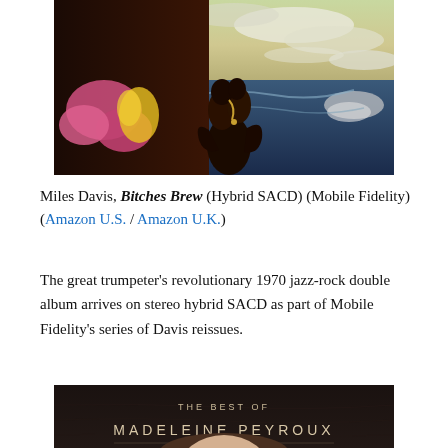[Figure (photo): Album cover of Miles Davis Bitches Brew showing two figures embracing near a colorful surreal ocean/beach scene with flowers and swirling sky]
Miles Davis, Bitches Brew (Hybrid SACD) (Mobile Fidelity) (Amazon U.S. / Amazon U.K.)
The great trumpeter's revolutionary 1970 jazz-rock double album arrives on stereo hybrid SACD as part of Mobile Fidelity's series of Davis reissues.
[Figure (photo): Album cover of The Best of Madeleine Peyroux showing text on dark background with partial view of person below]